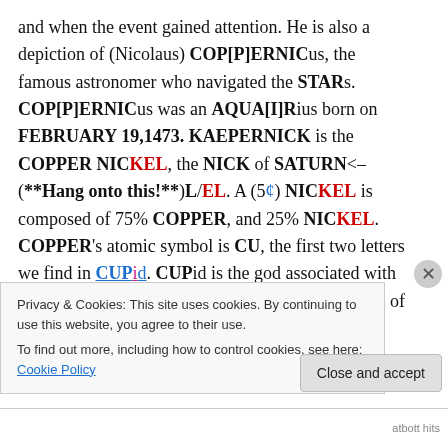and when the event gained attention. He is also a depiction of (Nicolaus) COP[P]ERNICus, the famous astronomer who navigated the STARs. COP[P]ERNICus was an AQUA[I]Rius born on FEBRUARY 19,1473. KAEPERNICK is the COPPER NICKEL, the NICK of SATURN<–(**Hang onto this!**)L/EL. A (5¢) NICKEL is composed of 75% COPPER, and 25% NICKEL. COPPER's atomic symbol is CU, the first two letters we find in CUPid. CUPid is the god associated with Valentine's Day that we celebrate during the month of FEBRUARY, which takes place under the sign of
Privacy & Cookies: This site uses cookies. By continuing to use this website, you agree to their use.
To find out more, including how to control cookies, see here: Cookie Policy
Close and accept